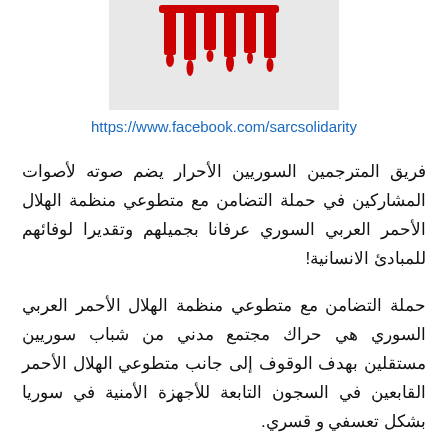[Figure (illustration): Dripping blood text or Arabic calligraphy logo in red on grey background]
https://www.facebook.com/sarcsolidarity
فريق المترجمين السوريين الأحرار يضم صوته لأصوات المشاركين في حملة التضامن مع متطوعي منظمة الهلال الأحمر العربي السوري عرفانا بجميلهم وتقديرا لوفائهم للمبادئ الانسانية!
حملة التضامن مع متطوعي منظمة الهلال الأحمر العربي السوري هي حراك مجتمع مدني من شباب سوريين مستقلين بهدف الوقوف إلى جانب متطوعي الهلال الأحمر القابعين في السجون التابعة للأجهزة الأمنية في سوريا بشكل تعسفي و قسري.